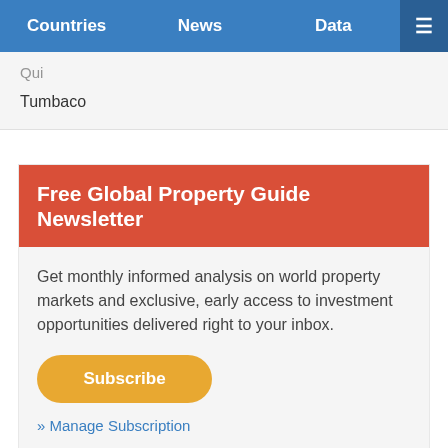Countries | News | Data | ≡
Tumbaco
Free Global Property Guide Newsletter
Get monthly informed analysis on world property markets and exclusive, early access to investment opportunities delivered right to your inbox.
Subscribe
» Manage Subscription